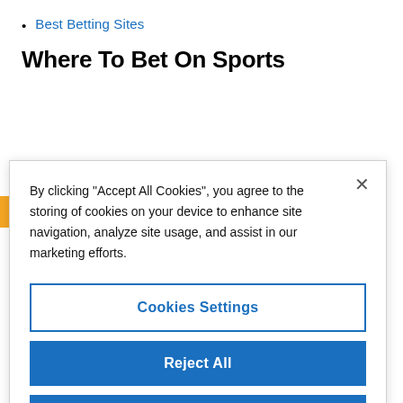Best Betting Sites
Where To Bet On Sports
Arizona
Colorado
Illinois
By clicking “Accept All Cookies”, you agree to the storing of cookies on your device to enhance site navigation, analyze site usage, and assist in our marketing efforts.
Cookies Settings
Reject All
Accept All Cookies